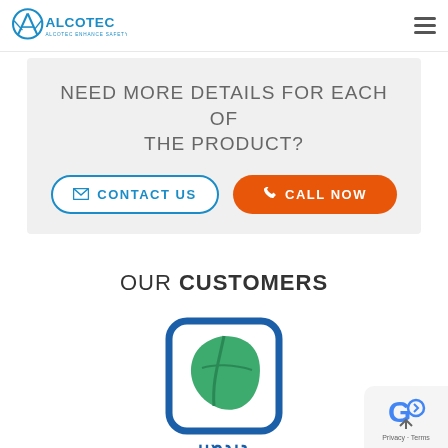[Figure (logo): Alcotec logo with text ALCOTEC ENHANCE SAFETY FOR LIFE in blue]
NEED MORE DETAILS FOR EACH OF THE PRODUCT?
CONTACT US
CALL NOW
OUR CUSTOMERS
[Figure (logo): Customer logo: green leaf inside a rounded square frame with Hebrew text below]
[Figure (logo): Google reCAPTCHA badge with Privacy and Terms links]